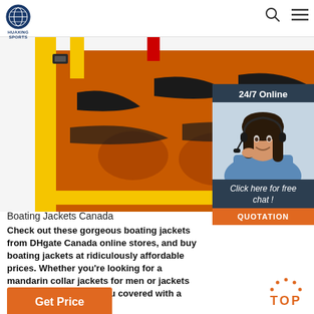[Figure (logo): Huaxing Sports logo — circular emblem with globe design in dark blue and white, with text HUAXING SPORTS below]
[Figure (photo): Close-up of a colorful life jacket / boating jacket with orange and black tiger-stripe pattern panels and yellow straps, on white background]
[Figure (photo): 24/7 Online customer service widget showing a smiling woman with headset, with 'Click here for free chat!' text and orange QUOTATION button]
Boating Jackets Canada
Check out these gorgeous boating jackets from DHgate Canada online stores, and buy boating jackets at ridiculously affordable prices. Whether you're looking for a mandarin collar jackets for men or jackets for gowns, we've got you covered with a variety of styles.
Get Price
TOP